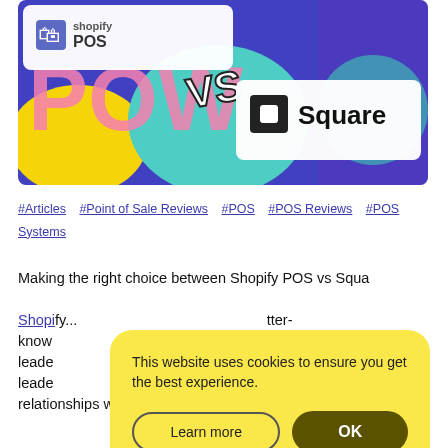[Figure (illustration): Hero image showing Shopify POS vs Square logos against a colorful pop-art background with 'POW' text and 'VS' in the center.]
#Articles   #Point of Sale Reviews   #POS   #POS Reviews   #POS Systems
Making the right choice between Shopify POS vs Square...
This website uses cookies to ensure you get the best experience.
Learn more   OK